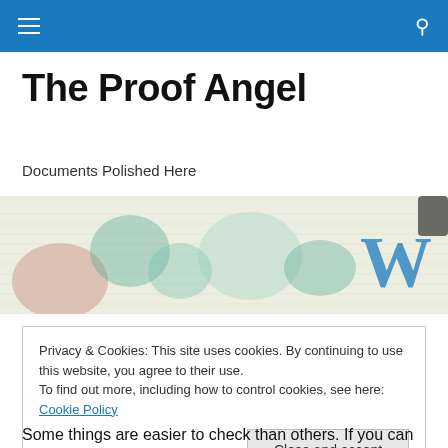☰  🔍
The Proof Angel
Documents Polished Here
[Figure (illustration): Decorative watercolor-style banner image with abstract ink blot shapes in teal, blue, and brown on a light background, with a WordPress logo visible on the right side]
Privacy & Cookies: This site uses cookies. By continuing to use this website, you agree to their use.
To find out more, including how to control cookies, see here: Cookie Policy
[Close and accept button]
Some things are easier to check than others. If you can